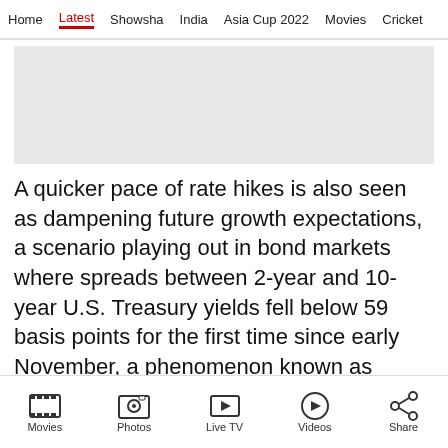Home  Latest  Showsha  India  Asia Cup 2022  Movies  Cricket
[Figure (other): Advertisement placeholder banner, light grey background]
A quicker pace of rate hikes is also seen as dampening future growth expectations, a scenario playing out in bond markets where spreads between 2-year and 10-year U.S. Treasury yields fell below 59 basis points for the first time since early November, a phenomenon known as “bear-flattening.” [US/]
In other currencies, the Australian dollar led
Movies  Photos  Live TV  Videos  Share